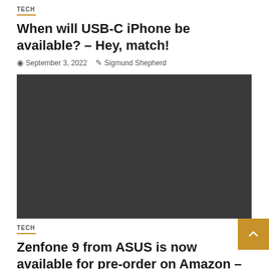TECH
When will USB-C iPhone be available? – Hey, match!
September 3, 2022   Sigmund Shepherd
[Figure (photo): Dark gray/black rectangular image placeholder]
TECH
Zenfone 9 from ASUS is now available for pre-order on Amazon – Yalla Match